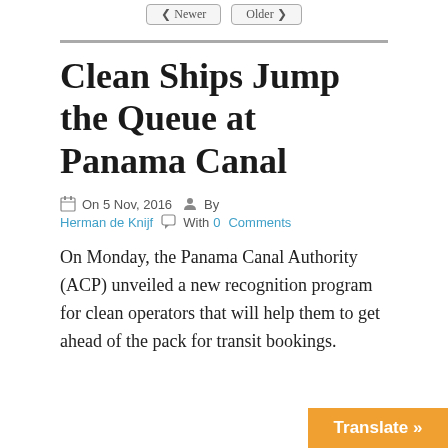< Newer   Older >
Clean Ships Jump the Queue at Panama Canal
On 5 Nov, 2016   By Herman de Knijf   With 0 Comments
On Monday, the Panama Canal Authority (ACP) unveiled a new recognition program for clean operators that will help them to get ahead of the pack for transit bookings.
Translate »